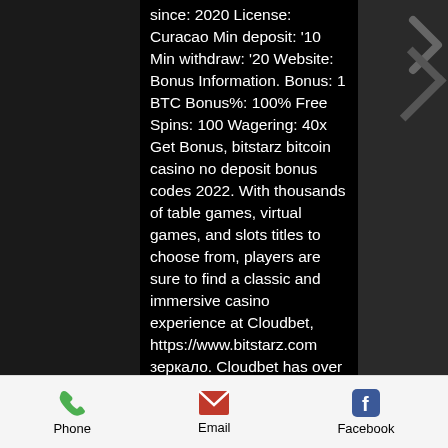since: 2020 License: Curacao Min deposit: '10 Min withdraw: '20 Website: Bonus Information. Bonus: 1 BTC Bonus%: 100% Free Spins: 100 Wagering: 40x Get Bonus, bitstarz bitcoin casino no deposit bonus codes 2022. With thousands of table games, virtual games, and slots titles to choose from, players are sure to find a classic and immersive casino experience at Cloudbet, https://www.bitstarz.com зеркало. Cloudbet has over 1,000 slots games, over 100 classic casino games including roulette, baccarat, blackjack, dice, and craps. The coin is used all over the world and also delivers speedy payment processing. There are a variety of crypto wallets to choose from, so it's important that you opt for a reliable product, best bitstarz games. If you are looking for Bitcoin Bonuses, Bitcoin Casinos are
Phone  Email  Facebook